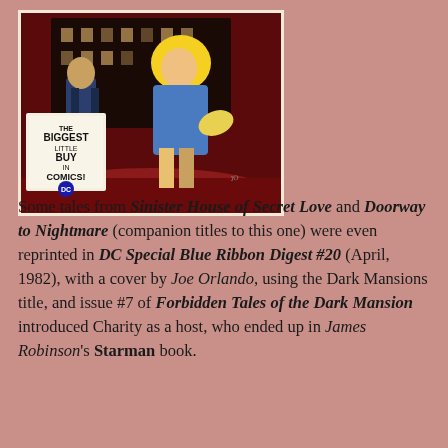[Figure (illustration): Comic book cover showing a blonde woman in a blue jacket running, with a man behind her, and a sign reading 'THE BIGGEST LITTLE BUY IN COMICS!' with a DC logo. Dark gothic building in background.]
Some tales from Sinister House of Secret Love and Doorway to Nightmare (companion titles to this one) were even reprinted in DC Special Blue Ribbon Digest #20 (April, 1982), with a cover by Joe Orlando, using the Dark Mansions title, and issue #7 of Forbidden Tales of the Dark Mansion introduced Charity as a host, who ended up in James Robinson's Starman book.